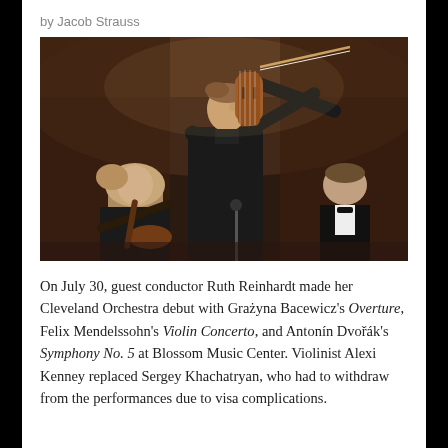by Jacob Strauss
[Figure (photo): A violinist in a black shirt plays violin in front of an orchestra. The soloist stands prominently in the center, holding the violin up while the orchestra musicians are visible behind him, including a female violinist in the foreground left and a man in a tuxedo to the right.]
On July 30, guest conductor Ruth Reinhardt made her Cleveland Orchestra debut with Grażyna Bacewicz's Overture, Felix Mendelssohn's Violin Concerto, and Antonín Dvořák's Symphony No. 5 at Blossom Music Center. Violinist Alexi Kenney replaced Sergey Khachatryan, who had to withdraw from the performances due to visa complications.